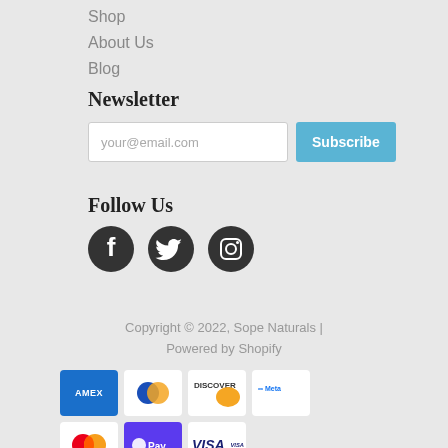Shop
About Us
Blog
Newsletter
your@email.com
Subscribe
Follow Us
[Figure (illustration): Social media icons: Facebook, Twitter, Instagram]
Copyright © 2022, Sope Naturals | Powered by Shopify
[Figure (illustration): Payment method icons: American Express, Diners Club, Discover, Meta Pay, Mastercard, Shop Pay, Visa]